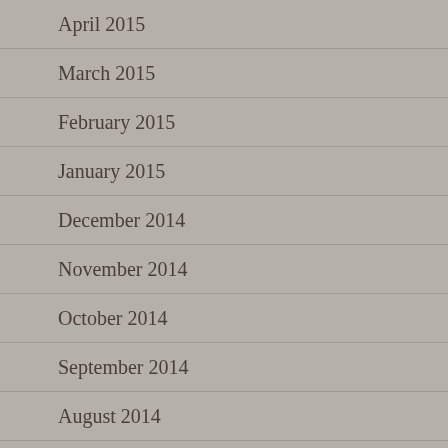April 2015
March 2015
February 2015
January 2015
December 2014
November 2014
October 2014
September 2014
August 2014
July 2014
June 2014